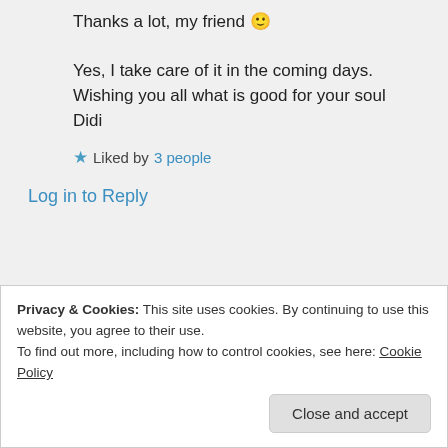Thanks a lot, my friend 🙂
Yes, I take care of it in the coming days.
Wishing you all what is good for your soul
Didi
★ Liked by 3 people
Log in to Reply
Advertisements
[Figure (other): Day One app advertisement banner showing a phone and text 'Your Journal for life' with DAYONE logo]
Privacy & Cookies: This site uses cookies. By continuing to use this website, you agree to their use.
To find out more, including how to control cookies, see here: Cookie Policy